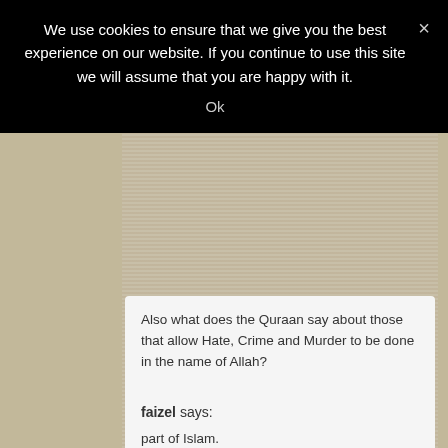We use cookies to ensure that we give you the best experience on our website. If you continue to use this site we will assume that you are happy with it.
Ok
Also what does the Quraan say about those that allow Hate, Crime and Murder to be done in the name of Allah?
The silence of Moslems who know this are also responsible for not denouncing it as not part of Islam.
But there is only silence while extremists murder and commit crimes in the name of Allah.
faizel says: